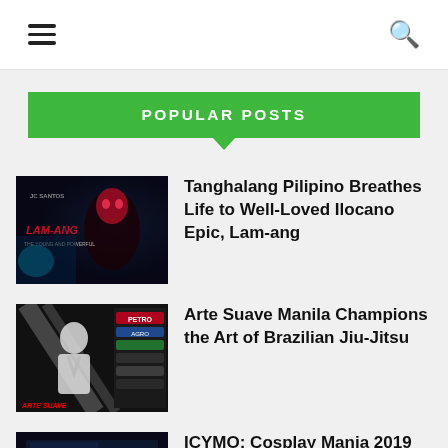Navigation bar with hamburger menu and search icon
POPULAR POSTS
[Figure (photo): Promotional image for Tanghalang Pilipino's Lam-ang production — dark theatrical poster with red-lit masked figure]
Tanghalang Pilipino Breathes Life to Well-Loved Ilocano Epic, Lam-ang
[Figure (photo): Arte Suave Manila event image — black and white photo of martial artist in jiu-jitsu uniform with sponsor logos]
Arte Suave Manila Champions the Art of Brazilian Jiu-Jitsu
[Figure (photo): Cosplay Mania 2019 event venue photo — dark convention hall with blue lighting and sponsor banners]
ICYMO: Cosplay Mania 2019 Highlights